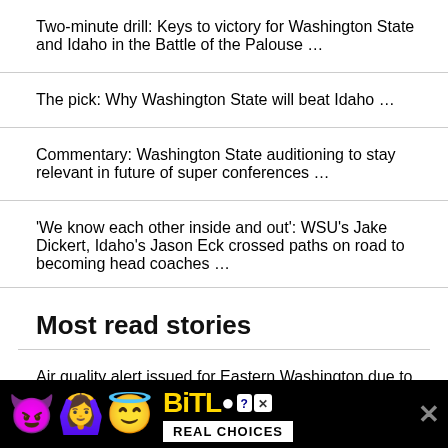Two-minute drill: Keys to victory for Washington State and Idaho in the Battle of the Palouse …
The pick: Why Washington State will beat Idaho …
Commentary: Washington State auditioning to stay relevant in future of super conferences …
'We know each other inside and out': WSU's Jake Dickert, Idaho's Jason Eck crossed paths on road to becoming head coaches …
Most read stories
Air quality alert issued for Eastern Washington due to wildfire smoke
[Figure (infographic): BitLife advertisement banner with emoji characters (devil, woman with arms raised, angel face), BitLife logo in yellow, and 'REAL CHOICES' text on black background with close button]